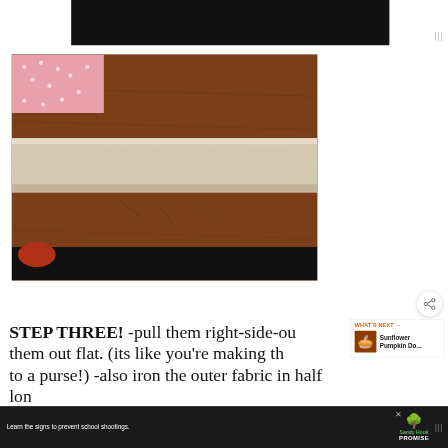[Figure (photo): Photo of a piece of cream/beige fabric folded lengthwise on a wooden table surface, with a pink polka-dot fabric piece visible in the top left corner.]
STEP THREE! -pull them right-side-out and smooth them out flat. (its like you're making the lining to a purse!) -also iron the outer fabric in half lon
[Figure (other): What's Next thumbnail overlay showing a pumpkin pie with label 'Sunflower Pumpkin Do...']
[Figure (other): Advertisement banner: 'Learn the signs to prevent school shootings.' with Sandy Hook Promise logo.]